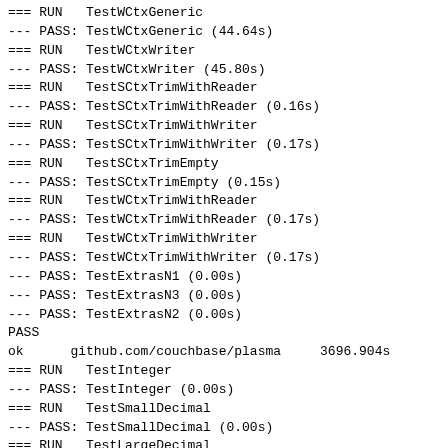=== RUN   TestWCtxGeneric
--- PASS: TestWCtxGeneric (44.64s)
=== RUN   TestWCtxWriter
--- PASS: TestWCtxWriter (45.80s)
=== RUN   TestSCtxTrimWithReader
--- PASS: TestSCtxTrimWithReader (0.16s)
=== RUN   TestSCtxTrimWithWriter
--- PASS: TestSCtxTrimWithWriter (0.17s)
=== RUN   TestSCtxTrimEmpty
--- PASS: TestSCtxTrimEmpty (0.15s)
=== RUN   TestWCtxTrimWithReader
--- PASS: TestWCtxTrimWithReader (0.17s)
=== RUN   TestWCtxTrimWithWriter
--- PASS: TestWCtxTrimWithWriter (0.17s)
--- PASS: TestExtrasN1 (0.00s)
--- PASS: TestExtrasN3 (0.00s)
--- PASS: TestExtrasN2 (0.00s)
PASS
ok      github.com/couchbase/plasma     3696.904s
=== RUN   TestInteger
--- PASS: TestInteger (0.00s)
=== RUN   TestSmallDecimal
--- PASS: TestSmallDecimal (0.00s)
=== RUN   TestLargeDecimal
--- PASS: TestLargeDecimal (0.00s)
=== RUN   TestFloat
--- PASS: TestFloat (0.00s)
=== RUN   TestSuffixCoding
--- PASS: TestSuffixCoding (0.00s)
=== RUN   TestCodecLength